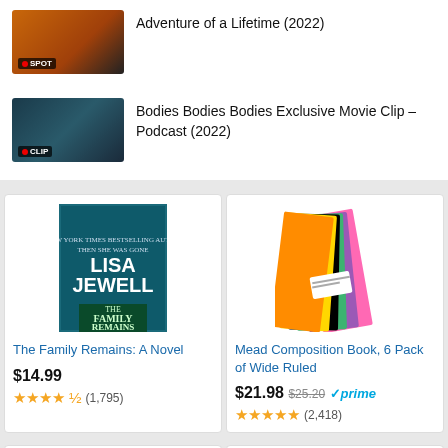[Figure (photo): Thumbnail for Adventure of a Lifetime (2022) movie spot with SPOT badge]
Adventure of a Lifetime (2022)
[Figure (photo): Thumbnail for Bodies Bodies Bodies Exclusive Movie Clip – Podcast (2022) with CLIP badge]
Bodies Bodies Bodies Exclusive Movie Clip – Podcast (2022)
[Figure (photo): The Family Remains: A Novel book cover by Lisa Jewell]
The Family Remains: A Novel
$14.99
★★★★½ (1,795)
[Figure (photo): Mead Composition Book 6 Pack of Wide Ruled colorful notebooks fanned out]
Mead Composition Book, 6 Pack of Wide Ruled
$21.98 $25.20 ✓prime
★★★★★ (2,418)